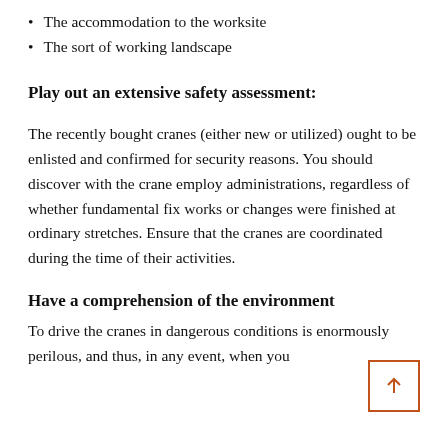The accommodation to the worksite
The sort of working landscape
Play out an extensive safety assessment:
The recently bought cranes (either new or utilized) ought to be enlisted and confirmed for security reasons. You should discover with the crane employ administrations, regardless of whether fundamental fix works or changes were finished at ordinary stretches. Ensure that the cranes are coordinated during the time of their activities.
Have a comprehension of the environment
To drive the cranes in dangerous conditions is enormously perilous, and thus, in any event, when you have some instable idea of an arising situation,